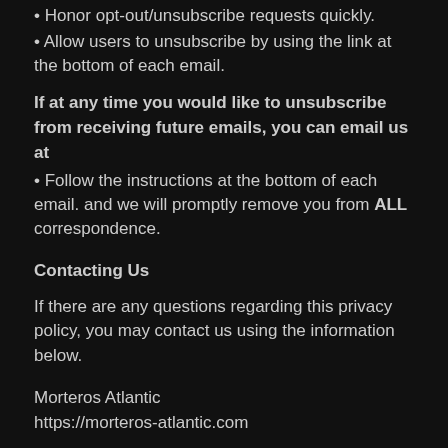• Honor opt-out/unsubscribe requests quickly.
• Allow users to unsubscribe by using the link at the bottom of each email.
If at any time you would like to unsubscribe from receiving future emails, you can email us at
• Follow the instructions at the bottom of each email. and we will promptly remove you from ALL correspondence.
Contacting Us
If there are any questions regarding this privacy policy, you may contact us using the information below.
Morteros Atlantic
https://morteros-atlantic.com